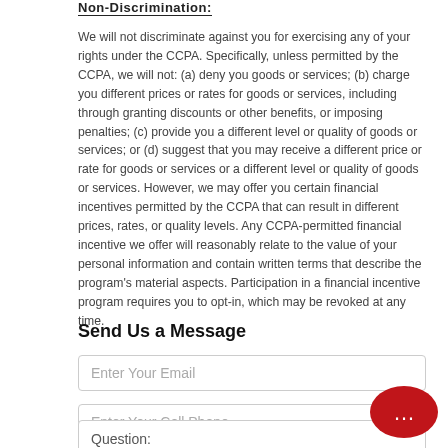Non-Discrimination:
We will not discriminate against you for exercising any of your rights under the CCPA. Specifically, unless permitted by the CCPA, we will not: (a) deny you goods or services; (b) charge you different prices or rates for goods or services, including through granting discounts or other benefits, or imposing penalties; (c) provide you a different level or quality of goods or services; or (d) suggest that you may receive a different price or rate for goods or services or a different level or quality of goods or services. However, we may offer you certain financial incentives permitted by the CCPA that can result in different prices, rates, or quality levels. Any CCPA-permitted financial incentive we offer will reasonably relate to the value of your personal information and contain written terms that describe the program's material aspects. Participation in a financial incentive program requires you to opt-in, which may be revoked at any time.
Send Us a Message
Enter Your Email
Enter Your Cell Phone
Question: